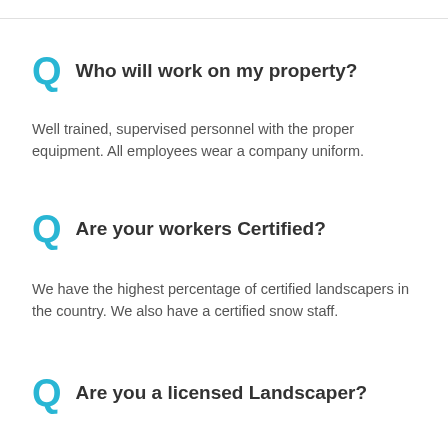Q  Who will work on my property?
Well trained, supervised personnel with the proper equipment. All employees wear a company uniform.
Q  Are your workers Certified?
We have the highest percentage of certified landscapers in the country. We also have a certified snow staff.
Q  Are you a licensed Landscaper?